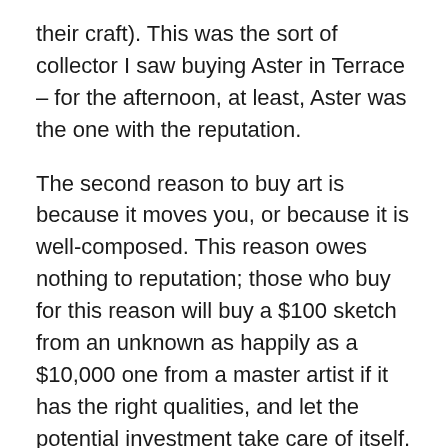their craft). This was the sort of collector I saw buying Aster in Terrace – for the afternoon, at least, Aster was the one with the reputation.
The second reason to buy art is because it moves you, or because it is well-composed. This reason owes nothing to reputation; those who buy for this reason will buy a $100 sketch from an unknown as happily as a $10,000 one from a master artist if it has the right qualities, and let the potential investment take care of itself.
These two types of buyers can talk amiably, and may even wish to buy the same piece. However, the motives for buying are really quite different, and quite irreconcilable. Secretly, an enthusiast like me can't help thinking that those whose buying decisions are based on reputation are unimaginative, even a little crass, and buying for entirely